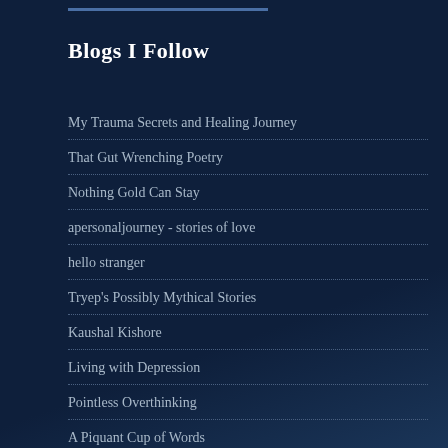Blogs I Follow
My Trauma Secrets and Healing Journey
That Gut Wrenching Poetry
Nothing Gold Can Stay
apersonaljourney - stories of love
hello stranger
Tryep's Possibly Mythical Stories
Kaushal Kishore
Living with Depression
Pointless Overthinking
A Piquant Cup of Words